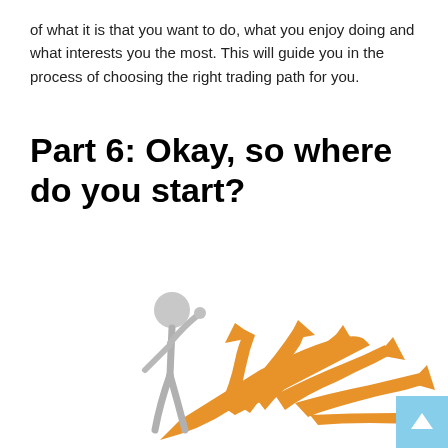of what it is that you want to do, what you enjoy doing and what interests you the most. This will guide you in the process of choosing the right trading path for you.
Part 6: Okay, so where do you start?
[Figure (illustration): A grey 3D stick figure scratching its head and looking confused, standing next to a large orange arrow that fans out into multiple arrows pointing in different directions, representing many possible choices or paths.]